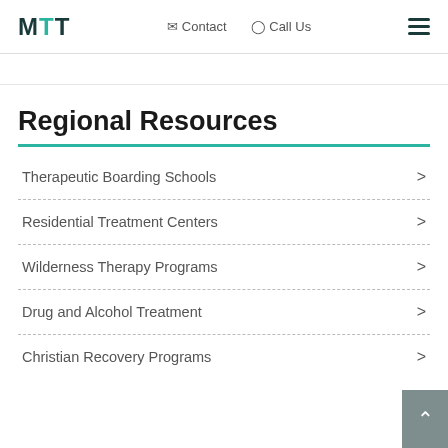MTT | Contact | Call Us
Regional Resources
Therapeutic Boarding Schools
Residential Treatment Centers
Wilderness Therapy Programs
Drug and Alcohol Treatment
Christian Recovery Programs